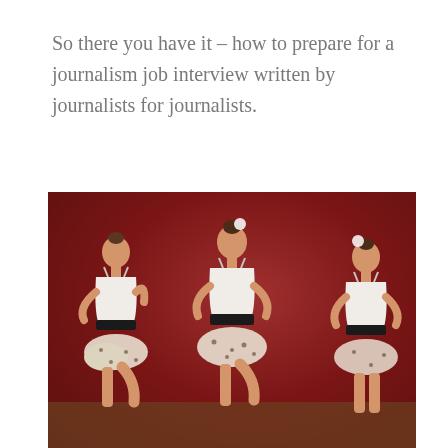So there you have it – how to prepare for a journalism job interview written by journalists for journalists.
[Figure (photo): Three young girls in ballet/dance costumes with white tops, black belts, and polka-dot tutus performing on a stage with a dark red background. They have their hands on their hips and one leg raised.]